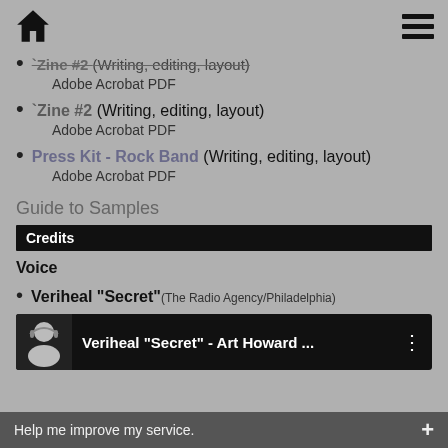Home | Menu
`Zine #2 (Writing, editing, layout) — Adobe Acrobat PDF (truncated/strikethrough at top)
`Zine #2 (Writing, editing, layout)
Adobe Acrobat PDF
Press Kit - Rock Band (Writing, editing, layout)
Adobe Acrobat PDF
Guide to Samples
Credits
Voice
Veriheal "Secret" (The Radio Agency/Philadelphia)
[Figure (screenshot): Media player showing Veriheal 'Secret' - Art Howard ... with a person thumbnail and three-dot menu icon]
Help me improve my service.  +